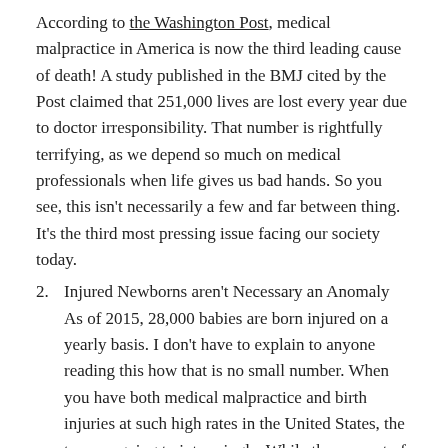According to the Washington Post, medical malpractice in America is now the third leading cause of death! A study published in the BMJ cited by the Post claimed that 251,000 lives are lost every year due to doctor irresponsibility. That number is rightfully terrifying, as we depend so much on medical professionals when life gives us bad hands. So you see, this isn't necessarily a few and far between thing. It's the third most pressing issue facing our society today.
Injured Newborns aren't Necessary an Anomaly
As of 2015, 28,000 babies are born injured on a yearly basis. I don't have to explain to anyone reading this how that is no small number. When you have both medical malpractice and birth injuries at such high rates in the United States, the two are going to intermingle. While the amount of birth injuries due to malpractice isn't commonly talked about or reported, nobody disagrees that those cases happen pretty regularly.